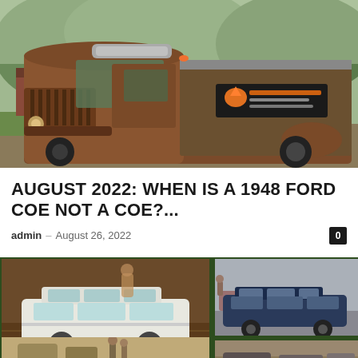[Figure (photo): Vintage 1948 Ford COE truck with rusty patina exterior, custom top, and a promotional banner on the side, parked on grass with trees and hills in the background]
AUGUST 2022: WHEN IS A 1948 FORD COE NOT A COE?...
admin – August 26, 2022   0
[Figure (photo): Collage of classic cars including a white station wagon model on wood surface (left), a dark blue station wagon at a car show (top right), and two smaller car show photos (bottom)]